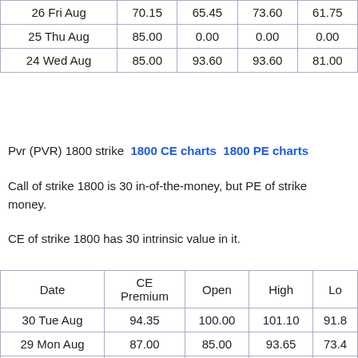| Date | CE Premium | Open | High | Low |
| --- | --- | --- | --- | --- |
| 26 Fri Aug | 70.15 | 65.45 | 73.60 | 61.75 |
| 25 Thu Aug | 85.00 | 0.00 | 0.00 | 0.00 |
| 24 Wed Aug | 85.00 | 93.60 | 93.60 | 81.00 |
Pvr (PVR) 1800 strike 1800 CE charts 1800 PE charts
Call of strike 1800 is 30 in-of-the-money, but PE of strike is out-of-the-money.
CE of strike 1800 has 30 intrinsic value in it.
| Date | CE Premium | Open | High | Low |
| --- | --- | --- | --- | --- |
| 30 Tue Aug | 94.35 | 100.00 | 101.10 | 91.8 |
| 29 Mon Aug | 87.00 | 85.00 | 93.65 | 73.4 |
| 26 Fri Aug | 100.90 | 105.00 | 125.00 | 96.0 |
| 25 Thu Aug | 108.75 | 106.15 | 123.50 | 105. |
| 24 Wed Aug | 110.90 | 118.85 | 119.00 | 100. |